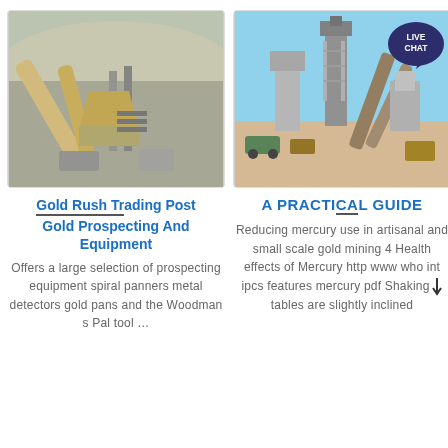[Figure (photo): Mining/mineral processing equipment with conveyor belts and industrial machinery at an open-air site]
[Figure (photo): Industrial mining site with tall tower structure, conveyor belts, and construction equipment under a blue sky, with a LIVE CHAT badge overlay]
Gold Rush Trading Post Gold Prospecting And Equipment
Offers a large selection of prospecting equipment spiral panners metal detectors gold pans and the Woodman s Pal tool …
A PRACTICAL GUIDE
Reducing mercury use in artisanal and small scale gold mining 4 Health effects of Mercury http www who int ipcs features mercury pdf Shaking tables are slightly inclined